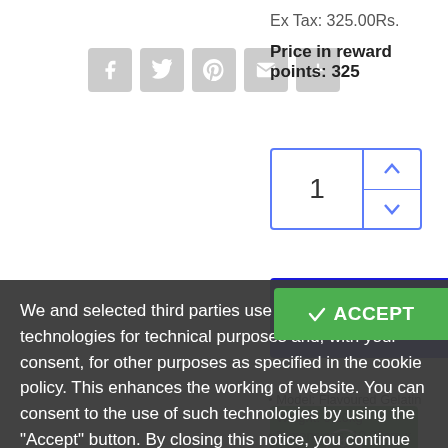Ex Tax: 325.00Rs.
Price in reward points: 325
[Figure (screenshot): Social share icons: Facebook, Twitter, Pinterest, Email, Plus]
[Figure (screenshot): Quantity selector showing 1 with up/down arrows, Add to Cart button in blue, Wishlist green button, Email red button]
We and selected third parties use cookies or similar technologies for technical purposes and, with your consent, for other purposes as specified in the cookie policy. This enhances the working of website. You can consent to the use of such technologies by using the "Accept" button. By closing this notice, you continue without accepting.
Model: Flavoured Gelatin
Weight: 0.20kg
Dimensions: 10.00cm x 15.00cm x 5.00cm